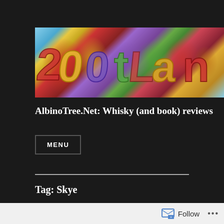[Figure (photo): Colorful graffiti art banner image showing stylized lettering in reds, yellows, purples, greens on a blue sky background]
AlbinoTree.Net: Whisky (and book) reviews
MENU
Tag: Skye
Whisky and Words Number 55:
Follow ...